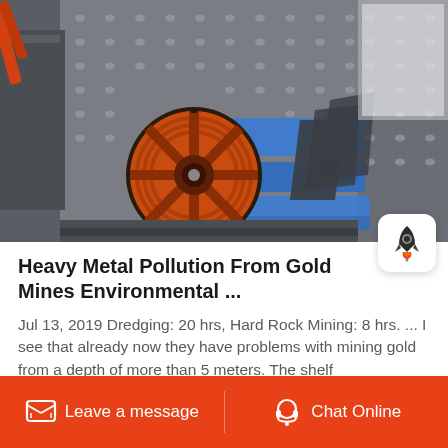[Figure (photo): 3D CAD render of industrial rock crusher / jaw crusher machinery showing orange flywheel pulley, blue conveyor/chute, grey structural frame with bolt holes, and mechanical toggle plate assembly]
Heavy Metal Pollution From Gold Mines Environmental ...
Jul 13, 2019 Dredging: 20 hrs, Hard Rock Mining: 8 hrs. ... I see that already now they have problems with mining gold from a depth of more than 5 meters. The shelf
Leave a message   Chat Online